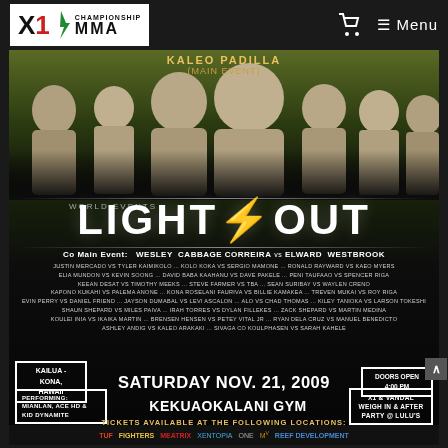[Figure (logo): X1 Championship MMA logo - white text on black background]
[Figure (photo): Event poster for X1 World Events Lights Out MMA event showing fighters lineup at top, event name LIGHTS OUT in large text, fight card details, venue info for Saturday Nov. 21, 2009 at Kekuaokalani Gym in Kailua-Kona Hawaii]
KALEO PADILLA (MAIN EVENT)
Co Main Event: WESLEY CABBAGE CORREIRA vs ELWARD WESTBROOK
JUSTIN MERCADO vs TYLER KAIMIKOLO ... KOLO KOKA vs SERGIO MAMONE ... RONALD RAYWARD vs KAEO MYERS
ELIA MUNDON vs KEVIN SOONG ... DAVID BABA KAAHANU vs DAVE PAKELE ... PENI TAUFAAO vs SPENCER RIGA
KEEAN DESAT vs TIMOTHY MEEKS ... STEVE FARMER vs TBA ... SEAN SURIBAY vs WAYLEN CRENO
KAPONO KUKAHI vs PALEMA ANONE ... KONA ROSELANI FAURIVA vs BILLIE KAMAKEA ... TREVEN MUKAI vs ROY RIGA
EVIN PERRY vs DANIEL FRIEND ... JAYSON DUMABAL vs LEVI ASCALON ... ALO vs CHAD THOMAS ... KILEY TANIOKA vs LARSON TOKESHI
SHAUN SHEPARD vs MILES PAIVA ... IRAH TORRES vs DYLAN FILLEKES ... ZACK SHEPARD vs MARTIN MEDINA
KOULEI INIA vs IKAIKA MARTIN ... BRENSEN HENSEN vs PETEY VITAL JR ... RYAN DELA CRUZ vs MANUEL BENEDICTO
ASHLEY ANDIG vs KALEO ARAKAKI ... SIVAGA CO KOULPHASEN vs SARAH KAHELE
SATURDAY NOV. 21, 2009
KEKUAOKALANI GYM
KAILUA - KONA, HAWAII
DOORS OPEN 4:00 PM
PERFORMING: MIANLAN, ACE HD & KID DYNAMITE
X1 & VANDAL WEIGH IN & AFTER PARTY @ LULU'S
TICKETS AVAILABLE AT THE FOLLOWING LOCATIONS:
CD Wizard 969-4800 // Big Island Surf: 935-1430 // Hilo Fight Company: 895-1481
Pacific Island Fitness: 334-1977 // Big Island Surf: 959-6243 // Lulus: 331-2633
Waikoloa Chevron: 883-8550 // Sergio Mamone Gym Hawaii International Family Fitness Center: 961-0003 // GENERAL: $25 FLOOR: $50 VIP ROWS 1 & 2: $100
FOR INFO: SONNY WESTBROOK @ 808.895.5016